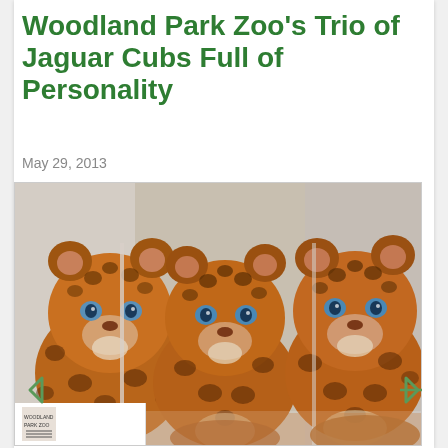Woodland Park Zoo's Trio of Jaguar Cubs Full of Personality
May 29, 2013
[Figure (photo): Three jaguar cubs with blue eyes and spotted fur sitting side by side, looking toward the camera. Photo includes a small Woodland Park Zoo logo thumbnail in the lower left corner.]